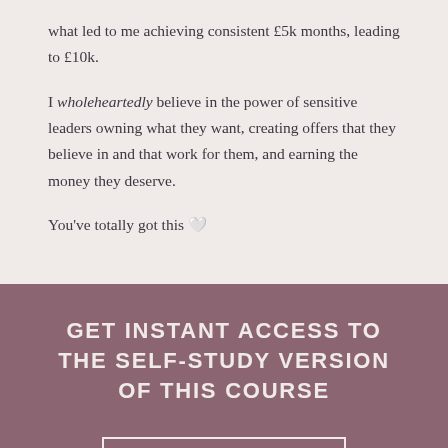what led to me achieving consistent £5k months, leading to £10k.
I wholeheartedly believe in the power of sensitive leaders owning what they want, creating offers that they believe in and that work for them, and earning the money they deserve.
You've totally got this 🤍
GET INSTANT ACCESS TO THE SELF-STUDY VERSION OF THIS COURSE
SIGN UP NOW ›